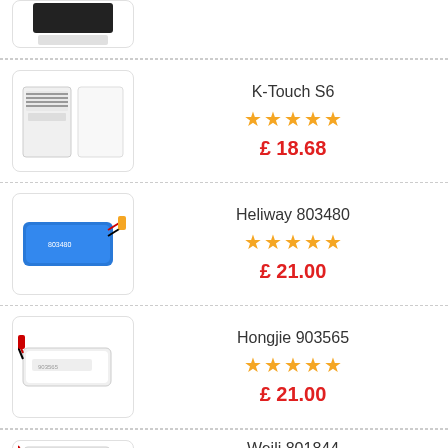[Figure (photo): Partial product image at top - battery product partially visible]
[Figure (photo): K-Touch S6 battery product image - two battery components shown]
K-Touch S6
★★★★★
£ 18.68
[Figure (photo): Heliway 803480 blue LiPo battery with yellow connector]
Heliway 803480
★★★★★
£ 21.00
[Figure (photo): Hongjie 903565 white LiPo battery with red connector]
Hongjie 903565
★★★★★
£ 21.00
[Figure (photo): Weili 801844 battery product partially visible at bottom]
Weili 801844
★★★★